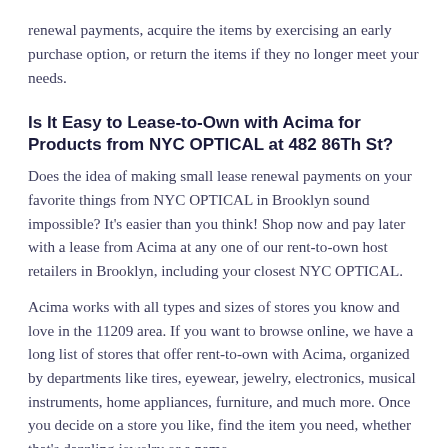renewal payments, acquire the items by exercising an early purchase option, or return the items if they no longer meet your needs.
Is It Easy to Lease-to-Own with Acima for Products from NYC OPTICAL at 482 86Th St?
Does the idea of making small lease renewal payments on your favorite things from NYC OPTICAL in Brooklyn sound impossible? It's easier than you think! Shop now and pay later with a lease from Acima at any one of our rent-to-own host retailers in Brooklyn, including your closest NYC OPTICAL.
Acima works with all types and sizes of stores you know and love in the 11209 area. If you want to browse online, we have a long list of stores that offer rent-to-own with Acima, organized by departments like tires, eyewear, jewelry, electronics, musical instruments, home appliances, furniture, and much more. Once you decide on a store you like, find the item you need, whether that's dazzling jewelry or a name-